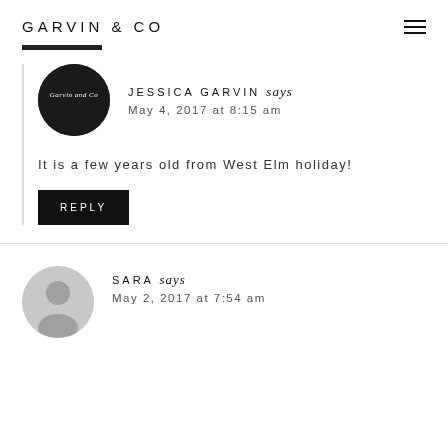GARVIN & CO
JESSICA GARVIN says
May 4, 2017 at 8:15 am
It is a few years old from West Elm holiday!
REPLY
SARA says
May 2, 2017 at 7:54 am